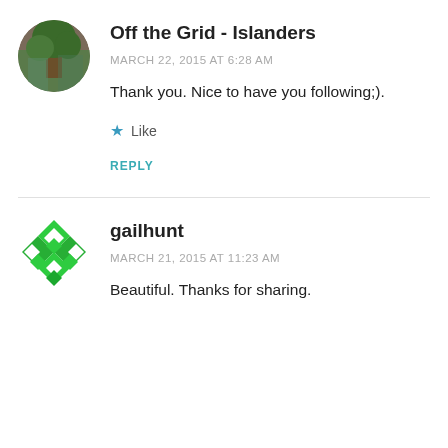Off the Grid - Islanders
MARCH 22, 2015 AT 6:28 AM
Thank you. Nice to have you following;).
Like
REPLY
gailhunt
MARCH 21, 2015 AT 11:23 AM
Beautiful. Thanks for sharing.